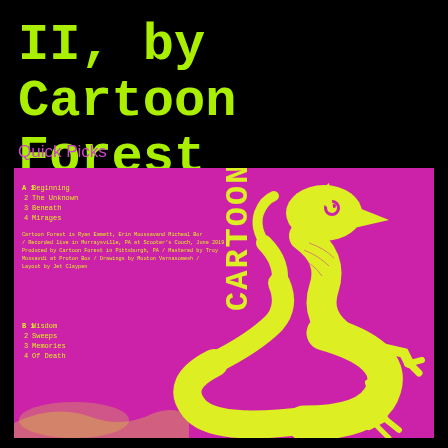II, by Cartoon Forest
Quick Picks
[Figure (photo): Magenta/pink cassette tape cover art for 'Cartoon Forest II' featuring a yellow-green illustrated serpentine dragon-like creature on a bright pink background. The left side shows track listings for two sides of the cassette. Side A: 1 Beginning, 2 The Unknown, 3 Beneath, 4 Mirages. Side B: 1 Wisdom, 2 Sweeps, 3 Memories, 4 Of Death. Small text credits are also visible.]